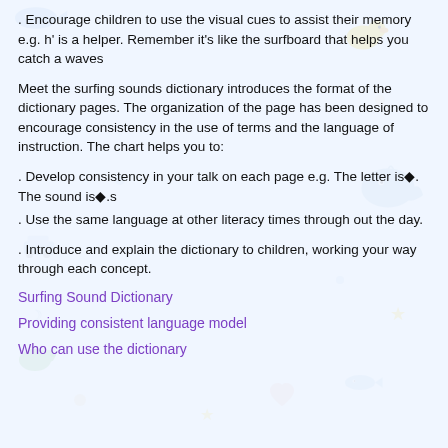. Encourage children to use the visual cues to assist their memory e.g. h' is a helper. Remember it's like the surfboard that helps you catch a waves
Meet the surfing sounds dictionary introduces the format of the dictionary pages. The organization of the page has been designed to encourage consistency in the use of terms and the language of instruction. The chart helps you to:
. Develop consistency in your talk on each page e.g. The letter is◆. The sound is◆.s
. Use the same language at other literacy times through out the day.
. Introduce and explain the dictionary to children, working your way through each concept.
Surfing Sound Dictionary
Providing consistent language model
Who can use the dictionary